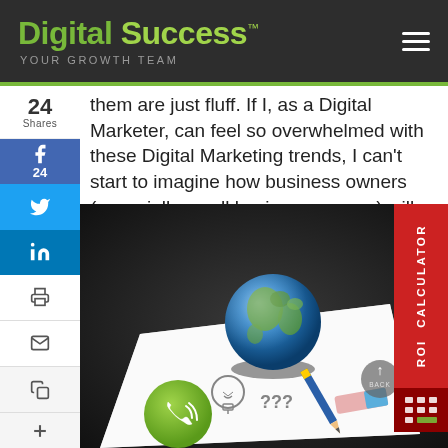Digital Success™ YOUR GROWTH TEAM
them are just fluff. If I, as a Digital Marketer, can feel so overwhelmed with these Digital Marketing trends, I can't start to imagine how business owners (especially small business owners) will feel about these over the top tre
[Figure (photo): A 3D rendered image showing a globe sitting on a white sheet of paper alongside a blue pencil, a pink eraser, a lightbulb sketch, and question marks — representing digital marketing concepts]
ROI CALCULATOR